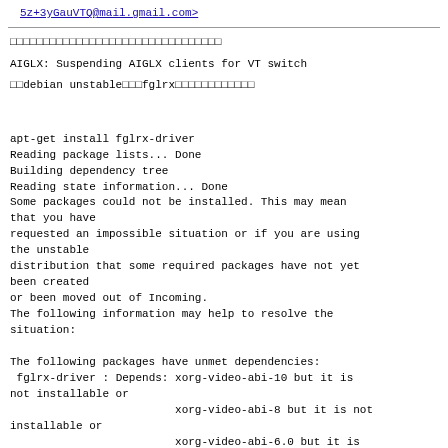5z+3yGauVTQ@mail.gmail.com>
□□□□□□□□□□□□□□□□□□□□□□□□□□□□□□□□
AIGLX: Suspending AIGLX clients for VT switch
□□debian unstable□□□fglrx□□□□□□□□□□□□□
apt-get install fglrx-driver
Reading package lists... Done
Building dependency tree
Reading state information... Done
Some packages could not be installed. This may mean
that you have
requested an impossible situation or if you are using
the unstable
distribution that some required packages have not yet
been created
or been moved out of Incoming.
The following information may help to resolve the
situation:

The following packages have unmet dependencies:
 fglrx-driver : Depends: xorg-video-abi-10 but it is
not installable or
                         xorg-video-abi-8 but it is not
installable or
                         xorg-video-abi-6.0 but it is
not installable